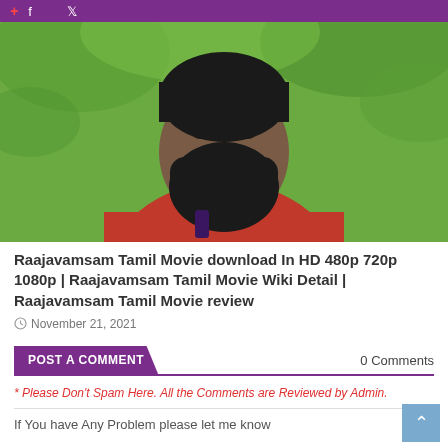POST A COMMENT | header bar with logo and social icons
[Figure (photo): A man with a large black beard, smiling, wearing a red shirt, with green foliage background.]
Raajavamsam Tamil Movie download In HD 480p 720p 1080p | Raajavamsam Tamil Movie Wiki Detail | Raajavamsam Tamil Movie review
November 21, 2021
POST A COMMENT
0 Comments
* Please Don't Spam Here. All the Comments are Reviewed by Admin.
If You have Any Problem please let me know